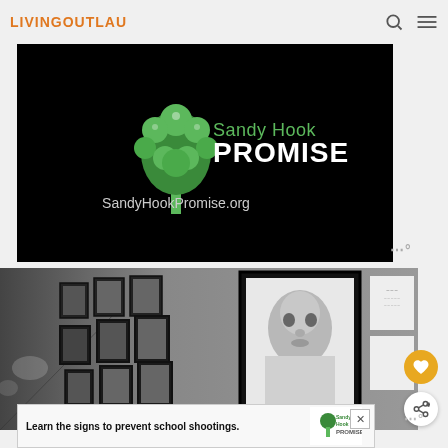LIVINGOUTLAU
[Figure (logo): Sandy Hook Promise logo and website URL on black background. Green tree made of hands, text 'Sandy Hook PROMISE' and 'SandyHookPromise.org']
[Figure (photo): Black and white photograph of a hallway wall covered with framed portrait photographs, showing a person's face in one large frame prominently on the right]
Learn the signs to prevent school shootings.